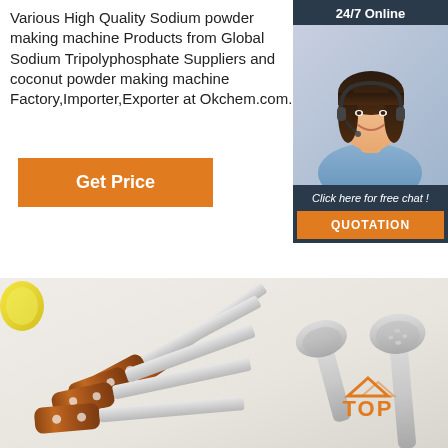Various High Quality Sodium powder making machine Products from Global Sodium Tripolyphosphate Suppliers and coconut powder making machine Factory,Importer,Exporter at Okchem.com.
Get Price
[Figure (other): Customer service representative with headset, 24/7 Online chat widget with dark blue background, showing a woman smiling with a headset, with 'Click here for free chat!' text and an orange QUOTATION button]
[Figure (photo): Photo of kitchen utensils with wooden handles - spatulas and ladles arranged on a white surface, with a TOP badge in orange at bottom right]